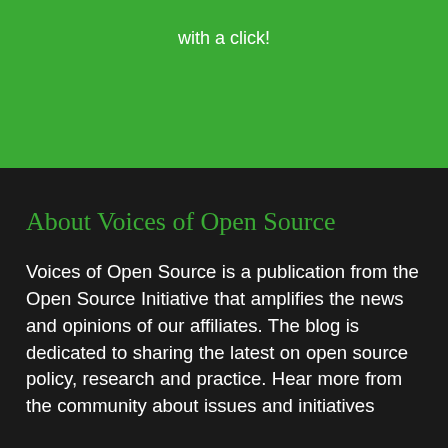with a click!
About Voices of Open Source
Voices of Open Source is a publication from the Open Source Initiative that amplifies the news and opinions of our affiliates. The blog is dedicated to sharing the latest on open source policy, research and practice. Hear more from the community about issues and initiatives